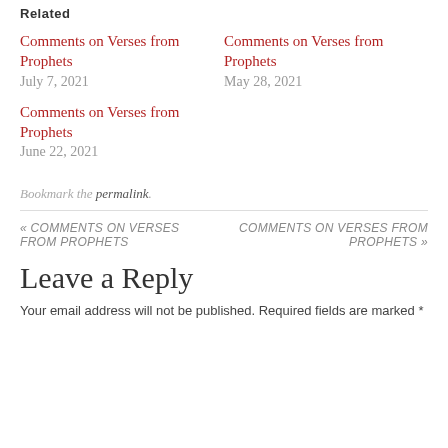Related
Comments on Verses from Prophets
July 7, 2021
Comments on Verses from Prophets
May 28, 2021
Comments on Verses from Prophets
June 22, 2021
Bookmark the permalink.
« COMMENTS ON VERSES FROM PROPHETS
COMMENTS ON VERSES FROM PROPHETS »
Leave a Reply
Your email address will not be published. Required fields are marked *